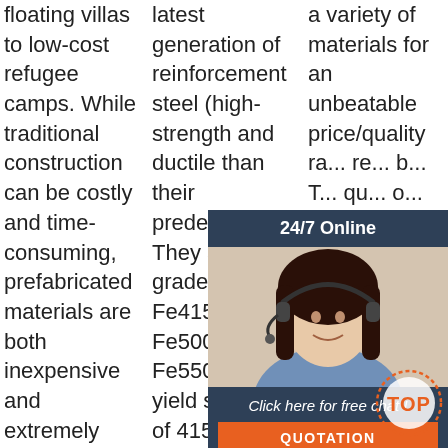floating villas to low-cost refugee camps. While traditional construction can be costly and time-consuming, prefabricated materials are both inexpensive and extremely quick to assemble. One of the main reasons why architects ...
latest generation of reinforcement steel (high-strength and ductile than their predecessors). They are graded as Fe415, Fe500, Fe500D, Fe550 i.e. yield strength of 415, 500 and 550 N sq mm respectively.
a variety of materials for an unbeatable price/quality ra... re... b... T... qu... o... ex... p... ratio as well as the bracing capacity required in ...
[Figure (other): Customer service widget with 24/7 Online header, photo of woman with headset, Click here for free chat text, and QUOTATION button]
[Figure (other): TOP badge/watermark in orange with dotted circle border at bottom right corner]